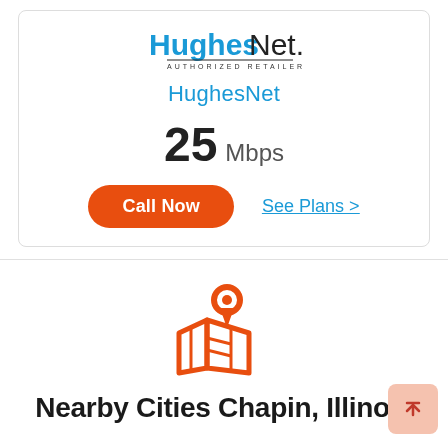[Figure (logo): HughesNet Authorized Retailer logo]
HughesNet
25 Mbps
Call Now
See Plans >
[Figure (illustration): Orange map pin / location icon with map]
Nearby Cities Chapin, Illinois